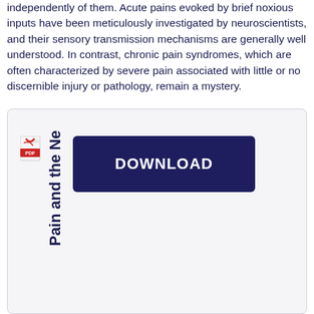independently of them. Acute pains evoked by brief noxious inputs have been meticulously investigated by neuroscientists, and their sensory transmission mechanisms are generally well understood. In contrast, chronic pain syndromes, which are often characterized by severe pain associated with little or no discernible injury or pathology, remain a mystery.
[Figure (other): A download box with a PDF icon on the left, vertically oriented text reading 'Pain and the Ne' (truncated), and a dark blue DOWNLOAD button on the right.]